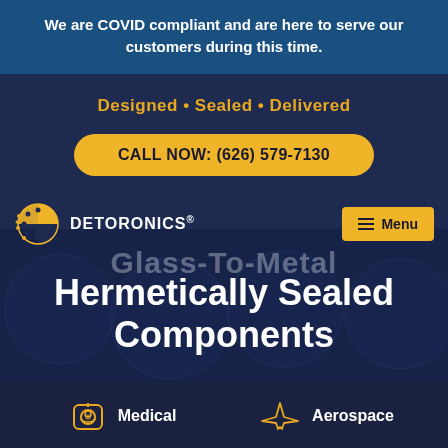We are COVID compliant and are here to serve our customers during this time.
Designed • Sealed • Delivered
CALL NOW: (626) 579-7130
[Figure (logo): Detoronics logo with circular dot pattern icon and text DETORONICS with registered trademark symbol]
Menu
Glass-To-Metal
Hermetically Sealed Components
Medical
Aerospace